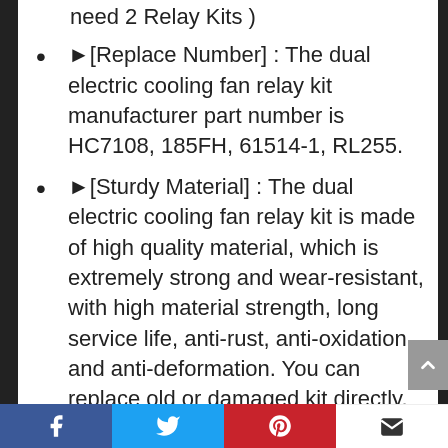need 2 Relay Kits )
►[Replace Number] : The dual electric cooling fan relay kit manufacturer part number is HC7108, 185FH, 61514-1, RL255.
►[Sturdy Material] : The dual electric cooling fan relay kit is made of high quality material, which is extremely strong and wear-resistant, with high material strength, long service life, anti-rust, anti-oxidation and anti-deformation. You can replace old or damaged kit directly.
Facebook | Twitter | Pinterest | Email